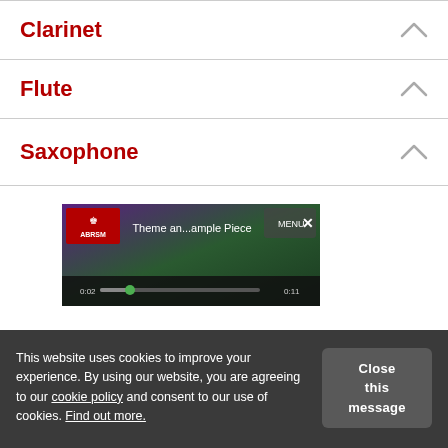Clarinet
Flute
Saxophone
[Figure (screenshot): ABRSM website screenshot showing a music player interface with 'Theme an...ample Piece' text, ABRSM logo, MENU button with X, and a progress bar. Background shows purple and green stage lighting.]
This website uses cookies to improve your experience. By using our website, you are agreeing to our cookie policy and consent to our use of cookies. Find out more.